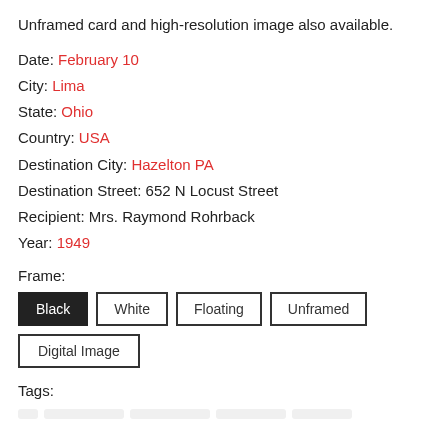Unframed card and high-resolution image also available.
Date: February 10
City: Lima
State: Ohio
Country: USA
Destination City: Hazelton PA
Destination Street: 652 N Locust Street
Recipient: Mrs. Raymond Rohrback
Year: 1949
Frame:
Black
White
Floating
Unframed
Digital Image
Tags: